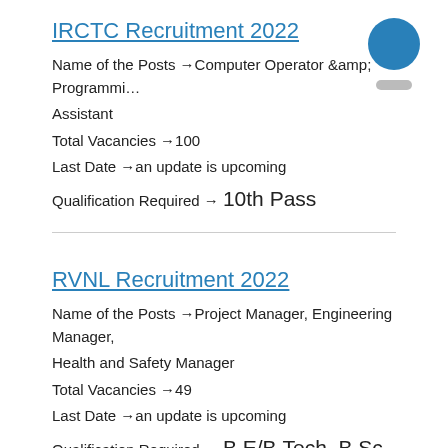IRCTC Recruitment 2022
Name of the Posts →Computer Operator &amp; Programming Assistant
Total Vacancies →100
Last Date →an update is upcoming
Qualification Required → 10th Pass
RVNL Recruitment 2022
Name of the Posts →Project Manager, Engineering Manager, Health and Safety Manager
Total Vacancies →49
Last Date →an update is upcoming
Qualification Required → B.E/B.Tech, B.Sc, MBBS